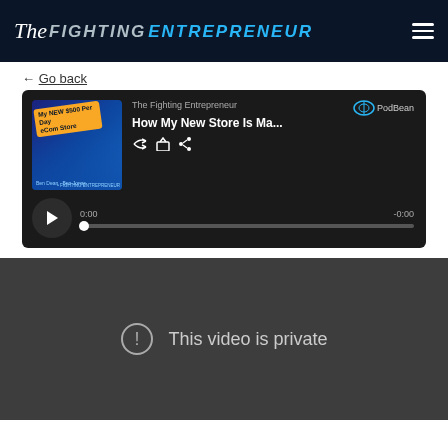The Fighting Entrepreneur
Go back
[Figure (screenshot): Podcast player for 'The Fighting Entrepreneur - How My New Store Is Ma...' on PodBean. Shows thumbnail image with text 'My NEW $500 Per Day eCom Store', play button, time display 0:00 / -0:00, and progress bar.]
[Figure (screenshot): Video player area showing 'This video is private' message with an exclamation icon on a dark gray background.]